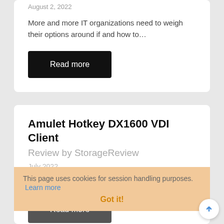August 2, 2022
More and more IT organizations need to weigh their options around if and how to…
Read more
Amulet Hotkey DX1600 VDI Client
Review by StorageReview
July 2022
In this article, StorageReview will give an in-depth overview of the Amulet Hotkey DX1600 VDI…
This page uses cookies for session handling purposes.  Learn more
Got it!
Read more